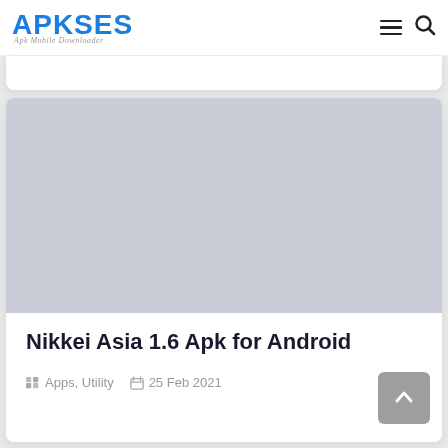APKSES — Apk Mobile Downloader
[Figure (screenshot): Gray placeholder image for Nikkei Asia app]
Nikkei Asia 1.6 Apk for Android
Apps, Utility   25 Feb 2021